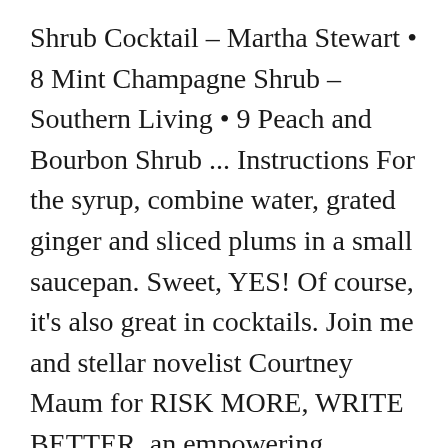Shrub Cocktail – Martha Stewart • 8 Mint Champagne Shrub – Southern Living • 9 Peach and Bourbon Shrub ... Instructions For the syrup, combine water, grated ginger and sliced plums in a small saucepan. Sweet, YES! Of course, it's also great in cocktails. Join me and stellar novelist Courtney Maum for RISK MORE, WRITE BETTER, an empowering weekend in a gorgeous old B&B that will jumpstart that project you've been wanting to work on. We may earn a commission on purchases, as described in our affiliate policy. Pop in there and stir it around every so often if you can. Likewise, a cranberry-fig shrub is excellent with an aged rum, ruby port, and